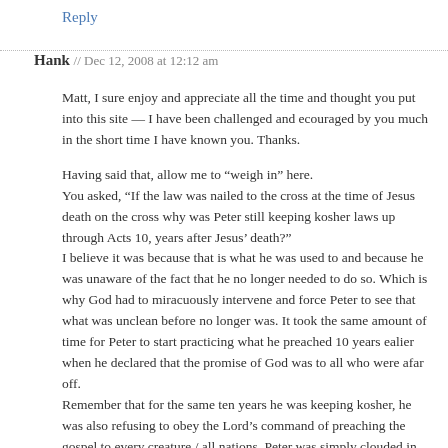Reply
Hank // Dec 12, 2008 at 12:12 am
Matt, I sure enjoy and appreciate all the time and thought you put into this site — I have been challenged and ecouraged by you much in the short time I have known you. Thanks.
Having said that, allow me to “weigh in” here. You asked, “If the law was nailed to the cross at the time of Jesus death on the cross why was Peter still keeping kosher laws up through Acts 10, years after Jesus’ death?” I believe it was because that is what he was used to and because he was unaware of the fact that he no longer needed to do so. Which is why God had to miracuously intervene and force Peter to see that what was unclean before no longer was. It took the same amount of time for Peter to start practicing what he preached 10 years ealier when he declared that the promise of God was to all who were afar off. Remember that for the same ten years he was keeping kosher, he was also refusing to obey the Lord’s command of preaching the gospel to every creature / all nations. Peter was simply clouded in his thinking.